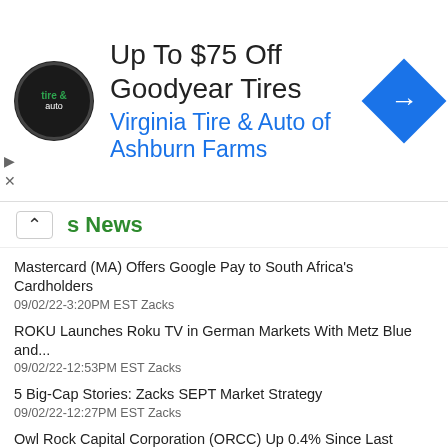[Figure (other): Advertisement banner: Up To $75 Off Goodyear Tires - Virginia Tire & Auto of Ashburn Farms, with logo and navigation arrow icon]
s News
Mastercard (MA) Offers Google Pay to South Africa's Cardholders
09/02/22-3:20PM EST Zacks
ROKU Launches Roku TV in German Markets With Metz Blue and...
09/02/22-12:53PM EST Zacks
5 Big-Cap Stories: Zacks SEPT Market Strategy
09/02/22-12:27PM EST Zacks
Owl Rock Capital Corporation (ORCC) Up 0.4% Since Last Earnings...
09/02/22-10:31AM EST Zacks
BCOR vs. FUTU: Which Stock Should Value Investors Buy Now?
09/01/22-10:40AM EST Zacks
More Zacks News for INTERNET SERVICES »
Other News
Stocks slide for third straight week
09/02/22-6:04PM EST United Press International
Tech tool offers police image surveillance on a budget...